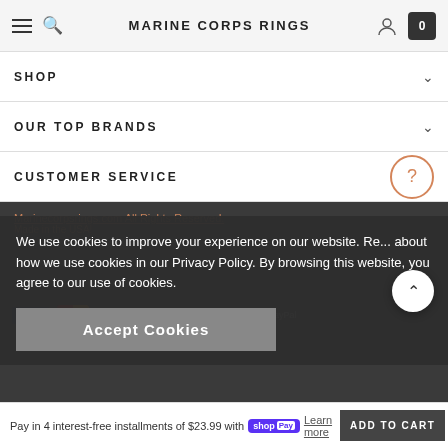MARINE CORPS RINGS
SHOP
OUR TOP BRANDS
CUSTOMER SERVICE
We use cookies to improve your experience on our website. Read about how we use cookies in our Privacy Policy. By browsing this website, you agree to our use of cookies.
Accept Cookies
Pay in 4 interest-free installments of $23.99 with shop Pay Learn more
ADD TO CART